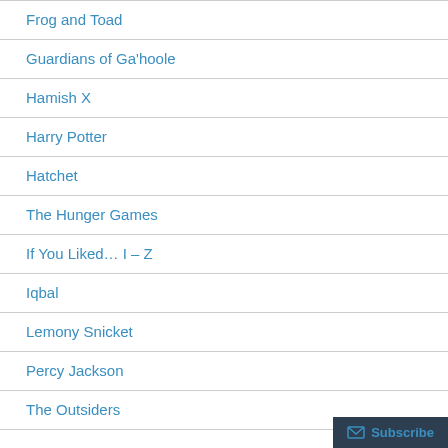Frog and Toad
Guardians of Ga’hoole
Hamish X
Harry Potter
Hatchet
The Hunger Games
If You Liked… I – Z
Iqbal
Lemony Snicket
Percy Jackson
The Outsiders